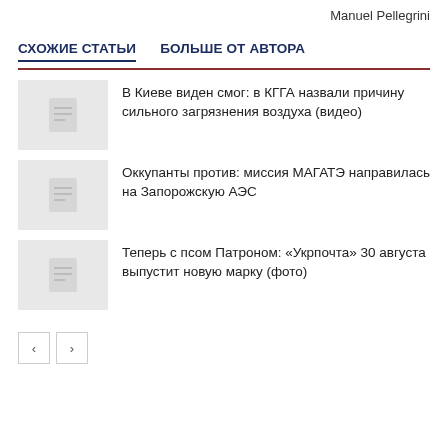Manuel Pellegrini
СХОЖИЕ СТАТЬИ    БОЛЬШЕ ОТ АВТОРА
В Киеве виден смог: в КГГА назвали причину сильного загрязнения воздуха (видео)
Оккупанты против: миссия МАГАТЭ направилась на Запорожскую АЭС
Теперь с псом Патроном: «Укрпочта» 30 августа выпустит новую марку (фото)